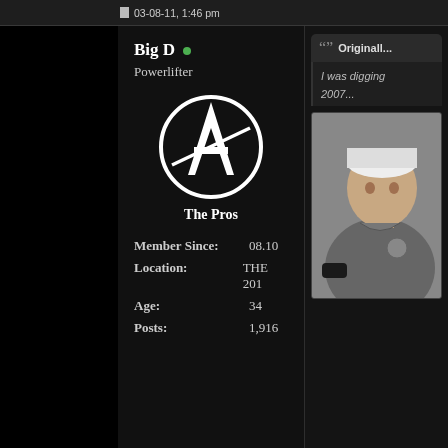03-08-11, 1:46 pm
Big D •
Powerlifter
[Figure (logo): Anarchy-style letter A logo with circle, black and white, labeled 'The Pros' beneath]
The Pros
Member Since:  08.10
Location:      THE 201
Age:           34
Posts:         1,916
Originally...
I was digging 2007...
[Figure (photo): Man wearing a grey polo shirt and white cap, appears to be indoors]
DAMNNNNNNNNNN